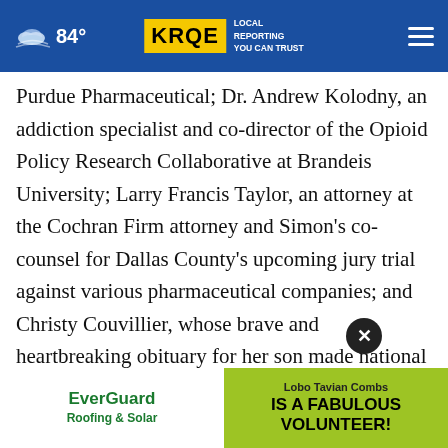84° KRQE LOCAL REPORTING YOU CAN TRUST
Purdue Pharmaceutical; Dr. Andrew Kolodny, an addiction specialist and co-director of the Opioid Policy Research Collaborative at Brandeis University; Larry Francis Taylor, an attorney at the Cochran Firm attorney and Simon's co-counsel for Dallas County's upcoming jury trial against various pharmaceutical companies; and Christy Couvillier, whose brave and heartbreaking obituary for her son made national headlines in early
[Figure (other): Advertisement banner: EverGuard Roofing & Solar ad on left, Lobo Tavian Combs IS A FABULOUS VOLUNTEER! ad on right with green background]